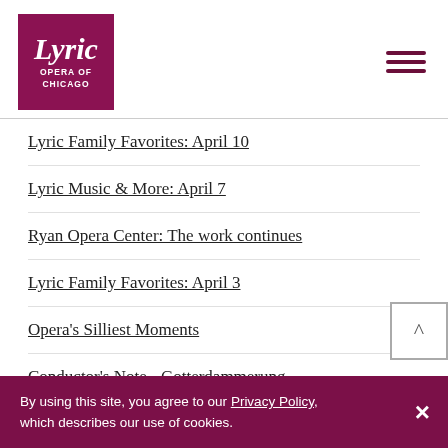[Figure (logo): Lyric Opera of Chicago logo — dark red/maroon square with italic 'Lyric' in white and 'OPERA OF CHICAGO' in white sans-serif below]
Lyric Family Favorites: April 10
Lyric Music & More: April 7
Ryan Opera Center: The work continues
Lyric Family Favorites: April 3
Opera's Silliest Moments
Conductor's Note - Gotterdammerung
By using this site, you agree to our Privacy Policy, which describes our use of cookies.